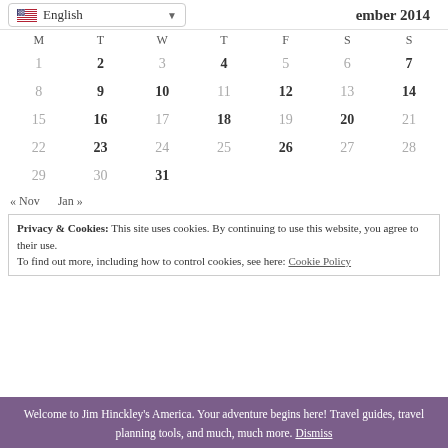December 2014 calendar with English language selector
| M | T | W | T | F | S | S |
| --- | --- | --- | --- | --- | --- | --- |
| 1 | 2 | 3 | 4 | 5 | 6 | 7 |
| 8 | 9 | 10 | 11 | 12 | 13 | 14 |
| 15 | 16 | 17 | 18 | 19 | 20 | 21 |
| 22 | 23 | 24 | 25 | 26 | 27 | 28 |
| 29 | 30 | 31 |  |  |  |  |
« Nov   Jan »
Privacy & Cookies: This site uses cookies. By continuing to use this website, you agree to their use.
To find out more, including how to control cookies, see here: Cookie Policy
Welcome to Jim Hinckley's America. Your adventure begins here! Travel guides, travel planning tools, and much, much more. Dismiss